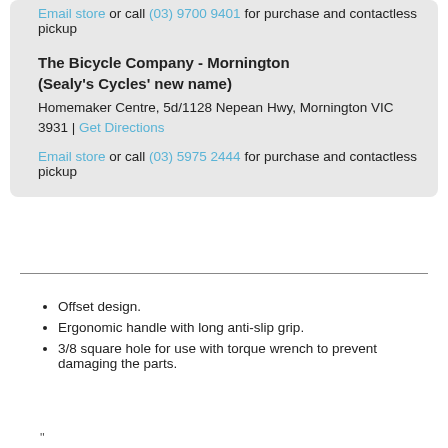Email store or call (03) 9700 9401 for purchase and contactless pickup
The Bicycle Company - Mornington
(Sealy's Cycles' new name)
Homemaker Centre, 5d/1128 Nepean Hwy, Mornington VIC 3931 | Get Directions
Email store or call (03) 5975 2444 for purchase and contactless pickup
Offset design.
Ergonomic handle with long anti-slip grip.
3/8 square hole for use with torque wrench to prevent damaging the parts.
"